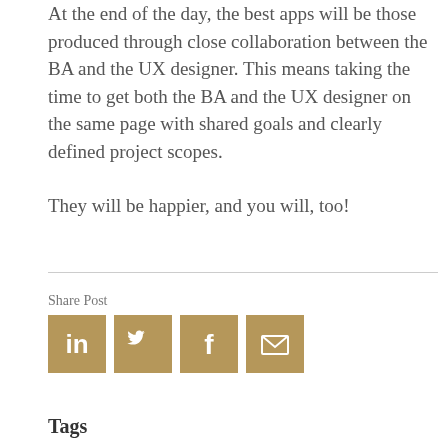At the end of the day, the best apps will be those produced through close collaboration between the BA and the UX designer. This means taking the time to get both the BA and the UX designer on the same page with shared goals and clearly defined project scopes.
They will be happier, and you will, too!
Share Post
[Figure (infographic): Four social share buttons in gold/tan color: LinkedIn (in), Twitter (bird icon), Facebook (f), Email (envelope icon)]
Tags